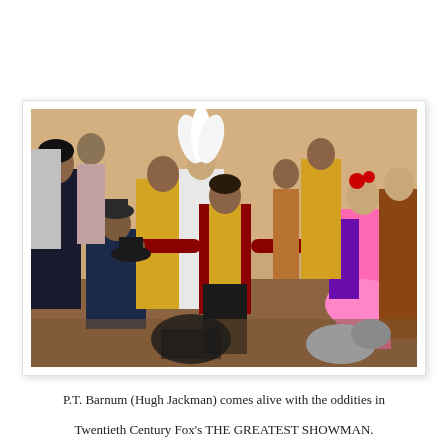[Figure (photo): A scene from The Greatest Showman showing P.T. Barnum (Hugh Jackman) in a red and gold ringmaster costume standing center with arms outstretched, surrounded by various circus performers and oddities in colorful costumes on a circus floor.]
P.T. Barnum (Hugh Jackman) comes alive with the oddities in
Twentieth Century Fox's THE GREATEST SHOWMAN.